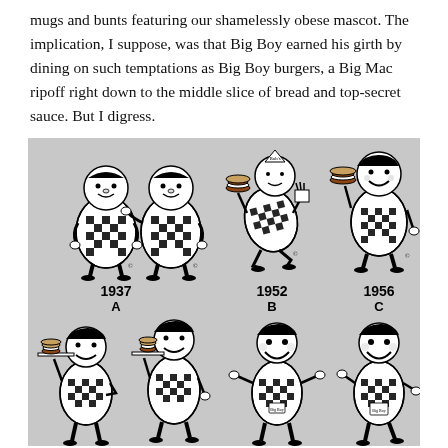mugs and bunts featuring our shamelessly obese mascot. The implication, I suppose, was that Big Boy earned his girth by dining on such temptations as Big Boy burgers, a Big Mac ripoff right down to the middle slice of bread and top-secret sauce. But I digress.
[Figure (illustration): A grid of Big Boy mascot illustrations showing the evolution of the character across different years. Top row shows three versions labeled 1937 A (two rotund figures in checkered overalls), 1952 B (active figure holding burger and fries), and 1956 C (smiling figure holding burger overhead). Bottom row shows four more evolved versions of the mascot, all in checkered overalls, some holding burgers on plates.]